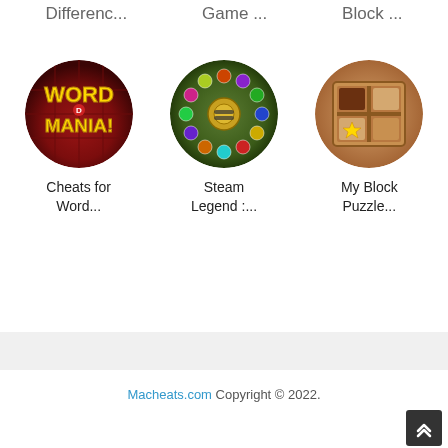Differenc...   Game ...   Block ...
[Figure (illustration): Word Mania game icon - circular red/brown background with yellow stylized text WORD MANIA!]
Cheats for Word...
[Figure (illustration): Steam Legend game icon - circular green background with colorful marbles arranged in a ring around a golden bee/insect]
Steam Legend :...
[Figure (illustration): My Block Puzzle game icon - wooden shelf/frame background with four square tiles, one featuring a yellow star]
My Block Puzzle...
Macheats.com Copyright © 2022.